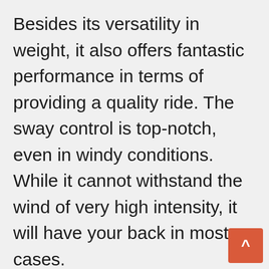Besides its versatility in weight, it also offers fantastic performance in terms of providing a quality ride. The sway control is top-notch, even in windy conditions. While it cannot withstand the wind of very high intensity, it will have your back in most cases.
The hitch comes with a very detailed step-by-step guide on how it needs to be set up. This makes the installation process extremely easy. If that wa all, it also comes with a pre-installed